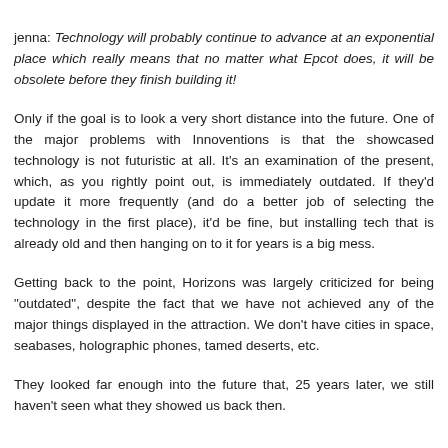jenna: Technology will probably continue to advance at an exponential place which really means that no matter what Epcot does, it will be obsolete before they finish building it!
Only if the goal is to look a very short distance into the future. One of the major problems with Innoventions is that the showcased technology is not futuristic at all. It's an examination of the present, which, as you rightly point out, is immediately outdated. If they'd update it more frequently (and do a better job of selecting the technology in the first place), it'd be fine, but installing tech that is already old and then hanging on to it for years is a big mess.
Getting back to the point, Horizons was largely criticized for being "outdated", despite the fact that we have not achieved any of the major things displayed in the attraction. We don't have cities in space, seabases, holographic phones, tamed deserts, etc.
They looked far enough into the future that, 25 years later, we still haven't seen what they showed us back then.